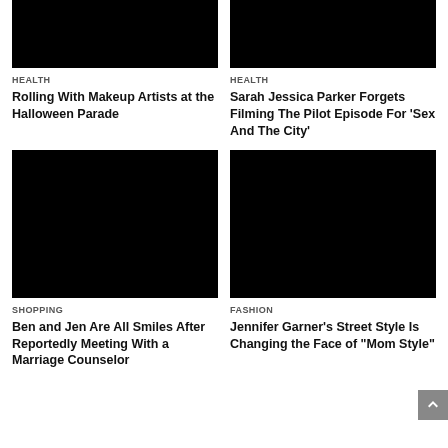[Figure (photo): Black image placeholder for article 1 top-left]
[Figure (photo): Black image placeholder for article 2 top-right]
HEALTH
Rolling With Makeup Artists at the Halloween Parade
HEALTH
Sarah Jessica Parker Forgets Filming The Pilot Episode For ‘Sex And The City’
[Figure (photo): Black image placeholder for article 3 bottom-left]
[Figure (photo): Black image placeholder for article 4 bottom-right]
SHOPPING
Ben and Jen Are All Smiles After Reportedly Meeting With a Marriage Counselor
FASHION
Jennifer Garner’s Street Style Is Changing the Face of “Mom Style”